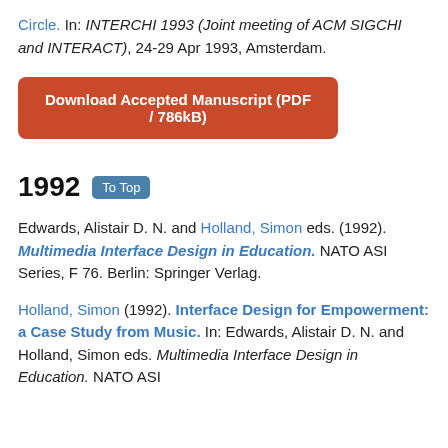Circle. In: INTERCHI 1993 (Joint meeting of ACM SIGCHI and INTERACT), 24-29 Apr 1993, Amsterdam.
Download Accepted Manuscript (PDF / 786kB)
1992
Edwards, Alistair D. N. and Holland, Simon eds. (1992). Multimedia Interface Design in Education. NATO ASI Series, F 76. Berlin: Springer Verlag.
Holland, Simon (1992). Interface Design for Empowerment: a Case Study from Music. In: Edwards, Alistair D. N. and Holland, Simon eds. Multimedia Interface Design in Education. NATO ASI